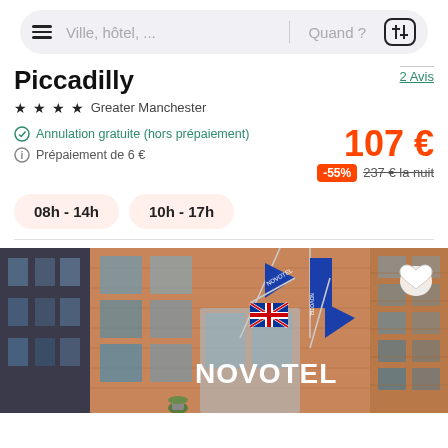[Figure (screenshot): Search bar with hamburger menu, hotel/city search input, 'Quand?' date selector, and filter icon]
Piccadilly
2 Avis
★★★★ Greater Manchester
Annulation gratuite (hors prépaiement)
Prépaiement de 6 €
107 €
-55% 237 € la nuit
08h - 14h
10h - 17h
[Figure (photo): Exterior photo of Novotel hotel building with brick facade, blue Novotel flags, Union Jack flag, and potted plants at entrance]